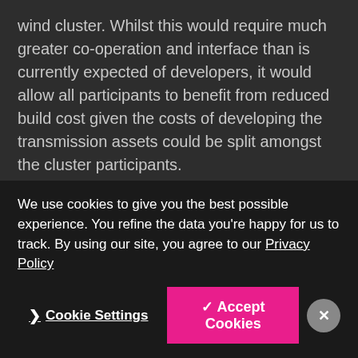wind cluster. Whilst this would require much greater co-operation and interface than is currently expected of developers, it would allow all participants to benefit from reduced build cost given the costs of developing the transmission assets could be split amongst the cluster participants.
Key to integrating any new offshore transmission solution into the offshore wind network is investment in demonstration projects, buy in from the regulators and the adaptation of the regulatory framework. It will also be vital to consider how funder's interests can be protected and whether there may need to be any ring-fencing of the transmission assets to allow direct access to the
We use cookies to give you the best possible experience. You refine the data you're happy for us to track. By using our site, you agree to our Privacy Policy